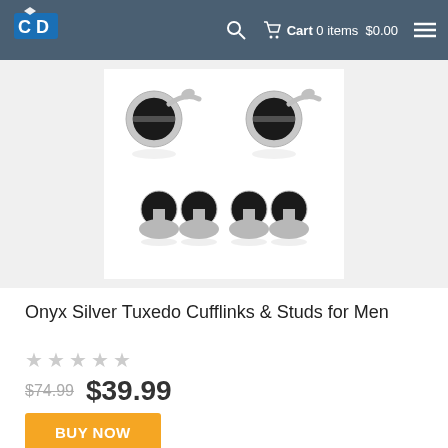CD logo | Cart 0 items $0.00
[Figure (photo): Product photo of Onyx Silver Tuxedo Cufflinks and Studs for Men — two round silver cufflinks with black onyx face at top, and four black onyx studs with silver bases below, on white background]
Onyx Silver Tuxedo Cufflinks & Studs for Men
★★★★★ (0 stars, no reviews)
$74.99  $39.99
BUY NOW